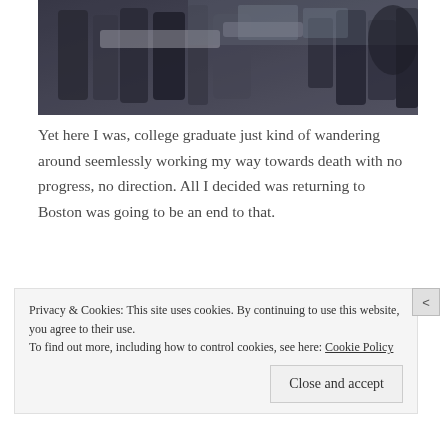[Figure (photo): Abstract artistic photo showing dark shapes resembling chairs or furniture, processed with a painterly/blurred effect in dark grays and blues]
Yet here I was, college graduate just kind of wandering around seemlessly working my way towards death with no progress, no direction. All I decided was returning to Boston was going to be an end to that.
[Figure (photo): Partial view of a brown/tan textured fabric or surface, partially obscured by cookie consent banner]
Privacy & Cookies: This site uses cookies. By continuing to use this website, you agree to their use.
To find out more, including how to control cookies, see here: Cookie Policy
Close and accept